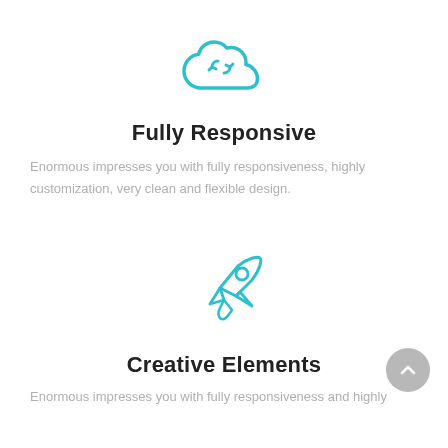[Figure (illustration): Teal/cyan cloud icon with two circular arrows (sync/refresh symbol) inside, centered at top of page]
Fully Responsive
Enormous impresses you with fully responsiveness, highly customization, very clean and flexible design.
[Figure (illustration): Teal/cyan rocket ship icon pointing upper-right, centered]
Creative Elements
Enormous impresses you with fully responsiveness and highly